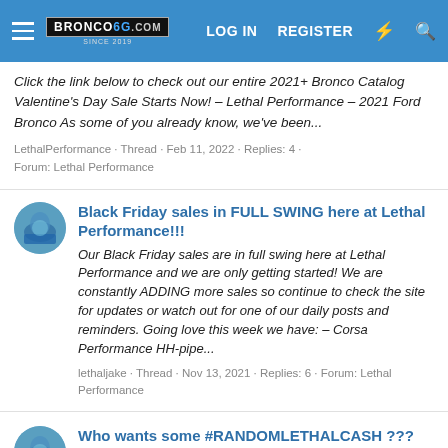BRONCO6G.COM SINCE 2019 | LOG IN | REGISTER
Click the link below to check out our entire 2021+ Bronco Catalog Valentine's Day Sale Starts Now! - Lethal Performance - 2021 Ford Bronco As some of you already know, we've been...
LethalPerformance · Thread · Feb 11, 2022 · Replies: 4 · Forum: Lethal Performance
Black Friday sales in FULL SWING here at Lethal Performance!!!
Our Black Friday sales are in full swing here at Lethal Performance and we are only getting started! We are constantly ADDING more sales so continue to check the site for updates or watch out for one of our daily posts and reminders. Going love this week we have: - Corsa Performance HH-pipe...
lethaljake · Thread · Nov 13, 2021 · Replies: 6 · Forum: Lethal Performance
Who wants some #RANDOMLETHALCASH ???